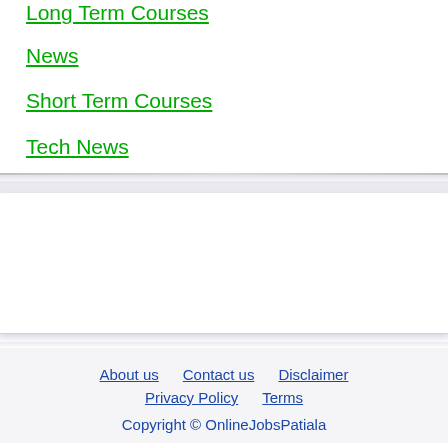Long Term Courses
News
Short Term Courses
Tech News
About us   Contact us   Disclaimer   Privacy Policy   Terms
Copyright © OnlineJobsPatiala